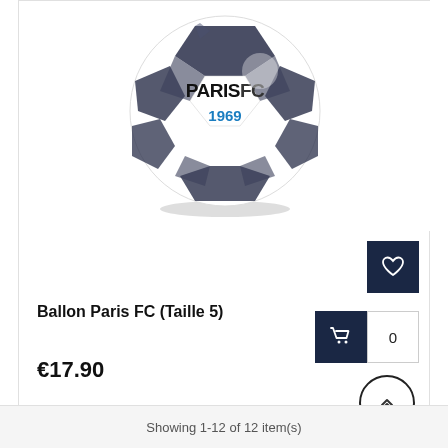[Figure (photo): Paris FC soccer ball, white with dark navy/black geometric pattern, displaying 'PARISFC' text and '1969' in blue]
Ballon Paris FC (Taille 5)
€17.90
Showing 1-12 of 12 item(s)